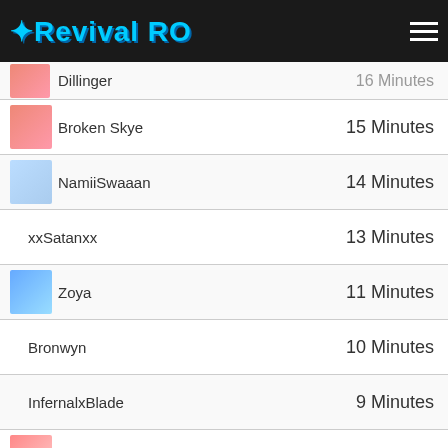Revival RO
Dillinger — 16 Minutes (partial)
Broken Skye — 15 Minutes
NamiiSwaaan — 14 Minutes
xxSatanxx — 13 Minutes
Zoya — 11 Minutes
Bronwyn — 10 Minutes
InfernalxBlade — 9 Minutes
RedemptionJr — 8 Minutes
Eitri Brokkr — 7 Minutes